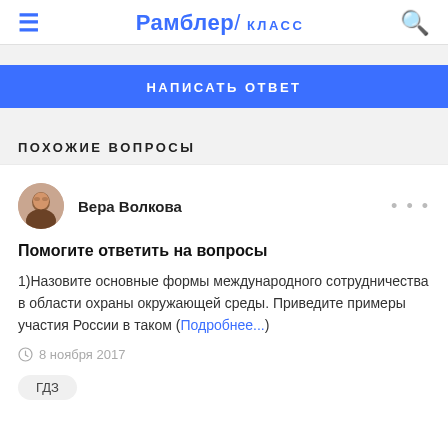Рамблер / КЛАСС
НАПИСАТЬ ОТВЕТ
ПОХОЖИЕ ВОПРОСЫ
Вера Волкова
Помогите ответить на вопросы
1)Назовите основные формы международного сотрудничества в области охраны окружающей среды. Приведите примеры участия России в таком (Подробнее...)
8 ноября 2017
ГДЗ